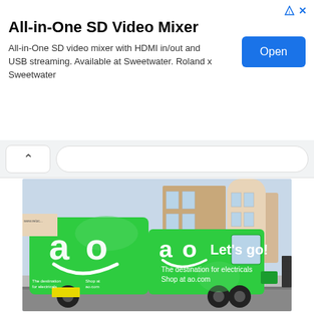[Figure (screenshot): Advertisement banner for All-in-One SD Video Mixer with Open button]
All-in-One SD Video Mixer
All-in-One SD video mixer with HDMI in/out and USB streaming. Available at Sweetwater. Roland x Sweetwater
[Figure (photo): Green AO delivery van with 'ao Let's go! The destination for electricals Shop at ao.com' branding, parked on a street with buildings in the background]